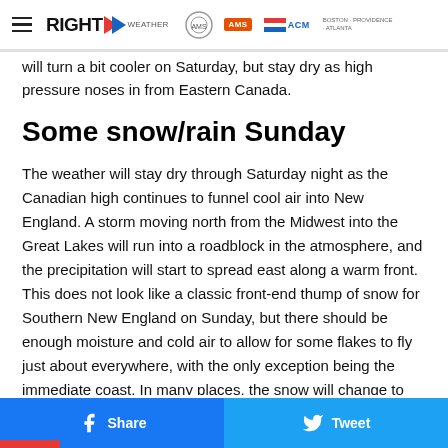RIGHT WEATHER | AMS | ACM | BOSTON · PROVIDENCE · ATLANTA
will turn a bit cooler on Saturday, but stay dry as high pressure noses in from Eastern Canada.
Some snow/rain Sunday
The weather will stay dry through Saturday night as the Canadian high continues to funnel cool air into New England. A storm moving north from the Midwest into the Great Lakes will run into a roadblock in the atmosphere, and the precipitation will start to spread east along a warm front. This does not look like a classic front-end thump of snow for Southern New England on Sunday, but there should be enough moisture and cold air to allow for some flakes to fly just about everywhere, with the only exception being the immediate coast. In many places, the snow will change to rain pretty quickly before